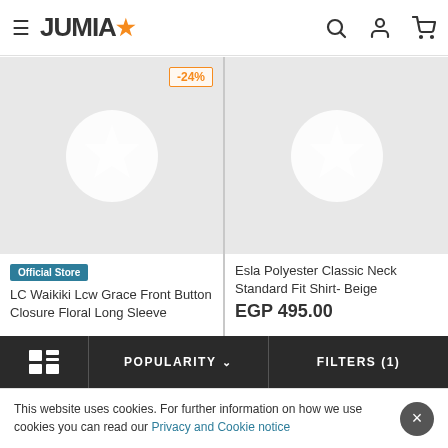JUMIA
[Figure (screenshot): Left product card with -24% discount badge, grey placeholder image with circular star logo, Official Store badge, title: LC Waikiki Lcw Grace Front Button Closure Floral Long Sleeve]
[Figure (screenshot): Right product card with grey placeholder image with circular star logo, title: Esla Polyester Classic Neck Standard Fit Shirt- Beige, price: EGP 495.00]
POPULARITY   FILTERS (1)
This website uses cookies. For further information on how we use cookies you can read our Privacy and Cookie notice